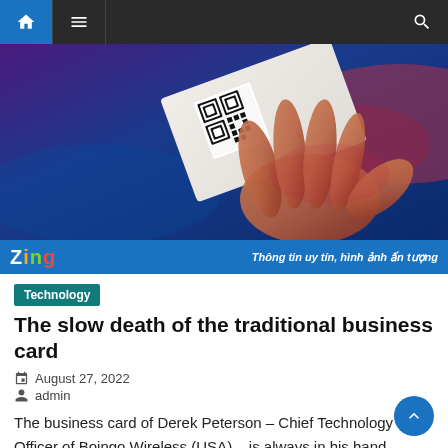Navigation bar with home, menu, and search icons
[Figure (photo): A hand holding a business card with a QR code printed on it, against a dark blue/purple background with red and blue lighting]
[Figure (logo): Zing logo with tagline: Thông tin uy tín, hình ảnh ấn tượng]
Technology
The slow death of the traditional business card
August 27, 2022
admin
The business card of Derek Peterson – Chief Technology Officer of Boingo Wireless (USA) – is always in his hand, literally. He had a chip that contained communication inserted between his thumb and index finger. From there,